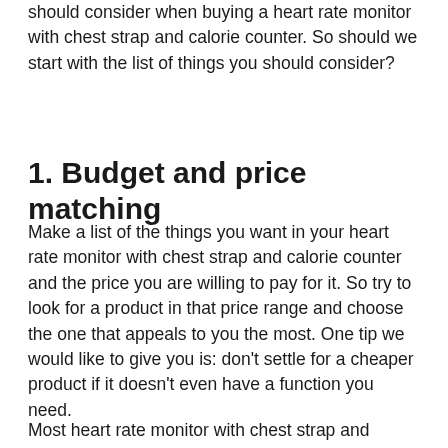should consider when buying a heart rate monitor with chest strap and calorie counter. So should we start with the list of things you should consider?
1. Budget and price matching
Make a list of the things you want in your heart rate monitor with chest strap and calorie counter and the price you are willing to pay for it. So try to look for a product in that price range and choose the one that appeals to you the most. One tip we would like to give you is: don't settle for a cheaper product if it doesn't even have a function you need.
Most heart rate monitor with chest strap and